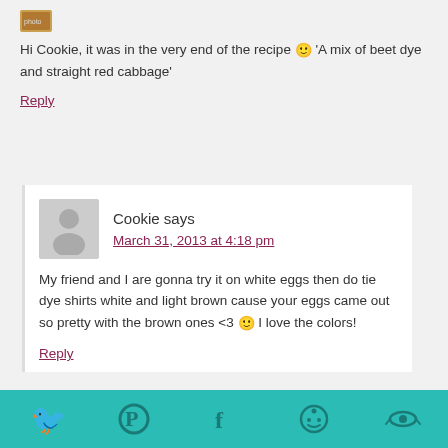[Figure (photo): Small avatar image at top left]
Hi Cookie, it was in the very end of the recipe 🙂 'A mix of beet dye and straight red cabbage'
Reply
[Figure (photo): Gray person silhouette avatar placeholder]
Cookie says
March 31, 2013 at 4:18 pm
My friend and I are gonna try it on white eggs then do tie dye shirts white and light brown cause your eggs came out so pretty with the brown ones <3 🙂 I love the colors!
Reply
[Figure (infographic): Teal social sharing bar with Twitter, Pinterest, Facebook, Reddit, and another icon]